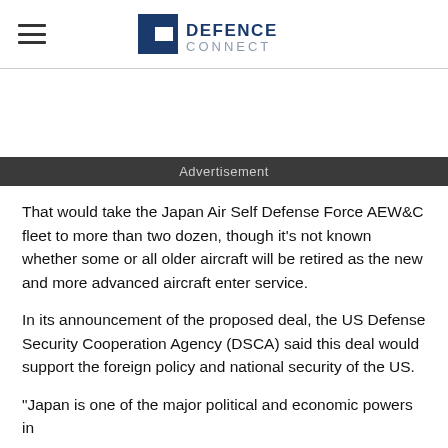DEFENCE CONNECT
Advertisement
That would take the Japan Air Self Defense Force AEW&C fleet to more than two dozen, though it’s not known whether some or all older aircraft will be retired as the new and more advanced aircraft enter service.
In its announcement of the proposed deal, the US Defense Security Cooperation Agency (DSCA) said this deal would support the foreign policy and national security of the US.
“Japan is one of the major political and economic powers in